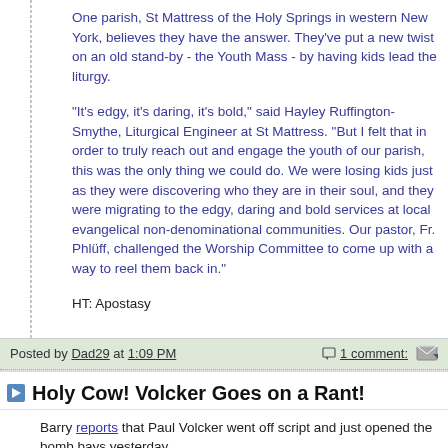One parish, St Mattress of the Holy Springs in western New York, believes they have the answer. They've put a new twist on an old stand-by - the Youth Mass - by having kids lead the liturgy.
"It's edgy, it's daring, it's bold," said Hayley Ruffington-Smythe, Liturgical Engineer at St Mattress. "But I felt that in order to truly reach out and engage the youth of our parish, this was the only thing we could do. We were losing kids just as they were discovering who they are in their soul, and they were migrating to the edgy, daring and bold services at local evangelical non-denominational communities. Our pastor, Fr. Phlüff, challenged the Worship Committee to come up with a way to reel them back in."
HT: Apostasy
Posted by Dad29 at 1:09 PM   1 comment:
Holy Cow! Volcker Goes on a Rant!
Barry reports that Paul Volcker went off script and just opened the bomb bays yesterday.
Volcker unloaded on banks and CEOs: he trashed regulators and the